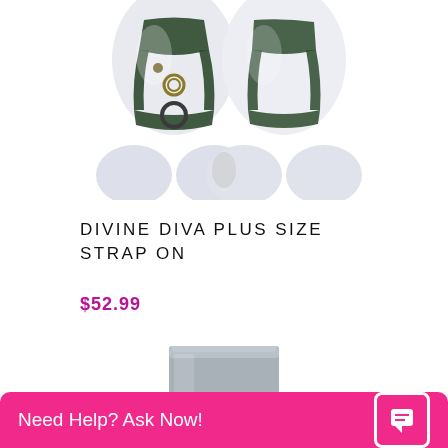[Figure (photo): Front and back view of a dark green/black strap-on harness displayed on white mannequin lower bodies]
DIVINE DIVA PLUS SIZE STRAP ON
$52.99
[Figure (photo): Bottom portion of a cylindrical silver/gray product on white background]
Need Help? Ask Now!